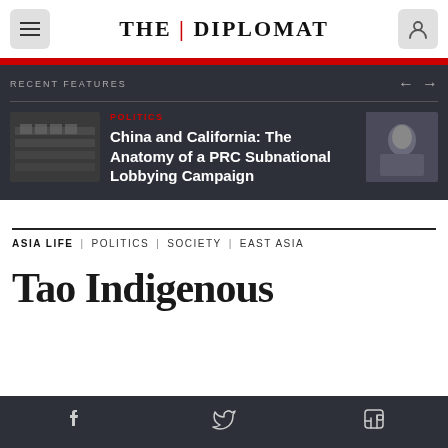THE DIPLOMAT
RECENT FEATURES
POLITICS
China and California: The Anatomy of a PRC Subnational Lobbying Campaign
ASIA LIFE | POLITICS | SOCIETY | EAST ASIA
Tao Indigenous
f  (twitter bird)  in